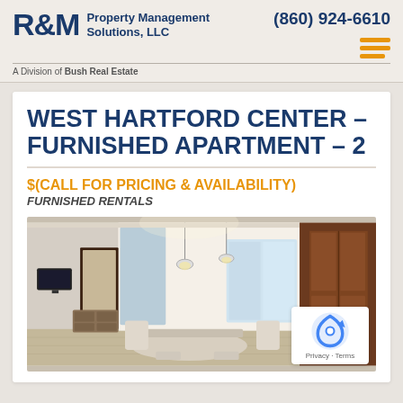R&M Property Management Solutions, LLC | A Division of Bush Real Estate | (860) 924-6610
WEST HARTFORD CENTER – FURNISHED APARTMENT – 2
$(CALL FOR PRICING & AVAILABILITY)
FURNISHED RENTALS
[Figure (photo): Interior photo of a furnished apartment showing an open-plan kitchen and dining area with pendant lights, dark wood cabinetry, and bright windows]